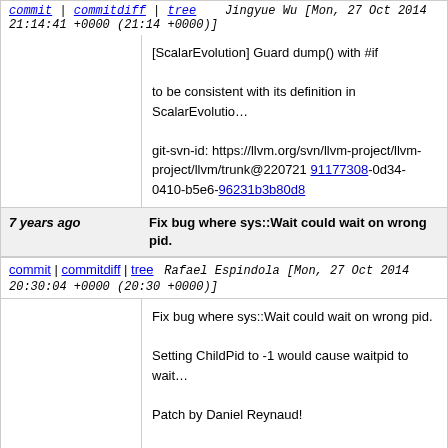commit | commitdiff | tree   Jingyue Wu [Mon, 27 Oct 2014 21:14:41 +0000 (21:14 +0000)]
[ScalarEvolution] Guard dump() with #if

to be consistent with its definition in ScalarEvolutio...

git-svn-id: https://llvm.org/svn/llvm-project/llvm/trunk@220721 91177308-0d34-0410-b5e6-96231b3b80d8
7 years ago   Fix bug where sys::Wait could wait on wrong pid.
commit | commitdiff | tree   Rafael Espindola [Mon, 27 Oct 2014 20:30:04 +0000 (20:30 +0000)]
Fix bug where sys::Wait could wait on wrong pid.

Setting ChildPid to -1 would cause waitpid to wait...

Patch by Daniel Reynaud!

git-svn-id: https://llvm.org/svn/llvm-project/llvm/trunk@220717 91177308-0d34-0410-b5e6-96231b3b80d8
7 years ago   [FastISel][AArch64] Emit immediate version of icmp (subs) for null pointer check.